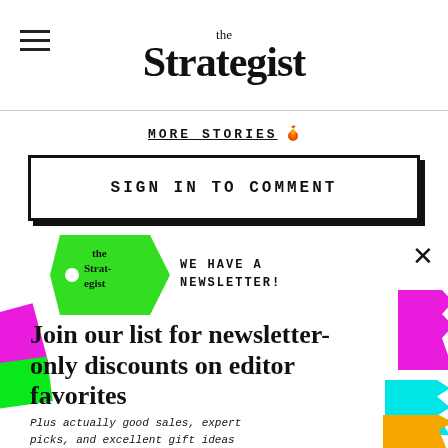the Strategist
MORE STORIES
SIGN IN TO COMMENT
[Figure (logo): The Strategist price tag logo in green]
WE HAVE A NEWSLETTER!
Join our list for newsletter-only discounts on editor favorites
Plus actually good sales, expert picks, and excellent gift ideas
Enter email here
SIGN ME UP
NO THANKS